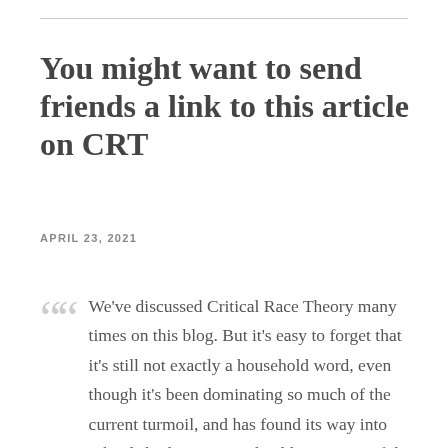You might want to send friends a link to this article on CRT
APRIL 23, 2021
We've discussed Critical Race Theory many times on this blog. But it's easy to forget that it's still not exactly a household word, even though it's been dominating so much of the current turmoil, and has found its way into schools both private and public. It's one of the most dangerous and divisive philosophies that has ever hit this country and people need to learn what it